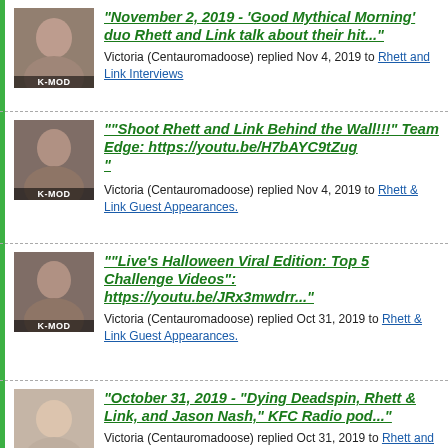"November 2, 2019 - 'Good Mythical Morning' duo Rhett and Link talk about their hit..." Victoria (Centauromadoose) replied Nov 4, 2019 to Rhett and Link Interviews
""Shoot Rhett and Link Behind the Wall!!!" Team Edge: https://youtu.be/H7bAYC9tZug" Victoria (Centauromadoose) replied Nov 4, 2019 to Rhett & Link Guest Appearances.
""Live's Halloween Viral Edition: Top 5 Challenge Videos": https://youtu.be/JRx3mwdrr..." Victoria (Centauromadoose) replied Oct 31, 2019 to Rhett & Link Guest Appearances.
"October 31, 2019 - "Dying Deadspin, Rhett & Link, and Jason Nash," KFC Radio pod..." Victoria (Centauromadoose) replied Oct 31, 2019 to Rhett and Link Interviews